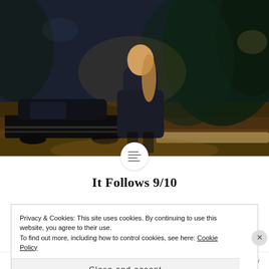[Figure (photo): A person standing on a street at night with a dark vintage car parked in the background, trees visible, moody nighttime atmosphere]
It Follows 9/10
Privacy & Cookies: This site uses cookies. By continuing to use this website, you agree to their use.
To find out more, including how to control cookies, see here: Cookie Policy
Close and accept